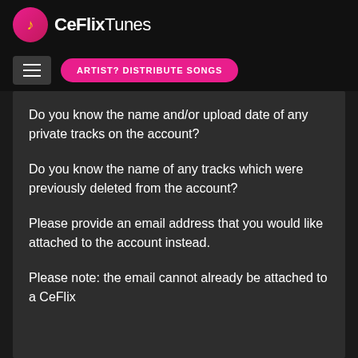[Figure (logo): CeFlixTunes logo with music note icon in pink/magenta circle and white text]
[Figure (other): Navigation bar with hamburger menu button and pink 'ARTIST? DISTRIBUTE SONGS' button]
Do you know the name and/or upload date of any private tracks on the account?
Do you know the name of any tracks which were previously deleted from the account?
Please provide an email address that you would like attached to the account instead.
Please note: the email cannot already be attached to a CeFlix